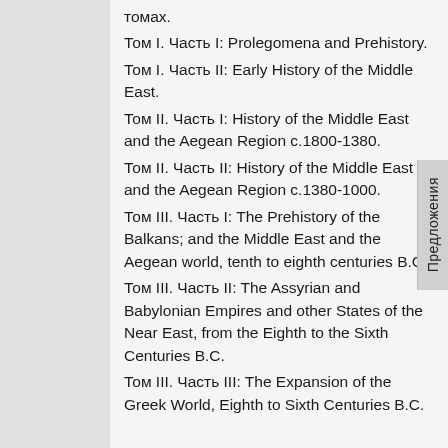томах.
Том I. Часть I: Prolegomena and Prehistory.
Том I. Часть II: Early History of the Middle East.
Том II. Часть I: History of the Middle East and the Aegean Region c.1800-1380.
Том II. Часть II: History of the Middle East and the Aegean Region c.1380-1000.
Том III. Часть I: The Prehistory of the Balkans; and the Middle East and the Aegean world, tenth to eighth centuries B.C.
Том III. Часть II: The Assyrian and Babylonian Empires and other States of the Near East, from the Eighth to the Sixth Centuries B.C.
Том III. Часть III: The Expansion of the Greek World, Eighth to Sixth Centuries B.C.